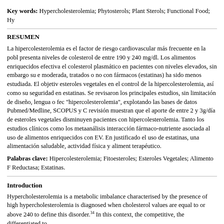Key words: Hypercholesterolemia; Phytosterols; Plant Sterols; Functional Food; Hy...
RESUMEN
La hipercolesterolemia es el factor de riesgo cardiovascular más frecuente en la pobl... presenta niveles de colesterol de entre 190 y 240 mg/dl. Los alimentos enriquecidos ... efectiva el colesterol plasmático en pacientes con niveles elevados, sin embargo su e... moderada, tratados o no con fármacos (estatinas) ha sido menos estudiada. El objetivo... esteroles vegetales en el control de la hipercolesterolemia, así como su seguridad en... estatinas. Se revisaron los principales estudios, sin limitación de diseño, lengua o fec... "hipercolesterolemia", explotando las bases de datos Pubmed/Medline, SCOPUS y C... revisión muestran que el aporte de entre 2 y 3g/día de esteroles vegetales disminuyen... pacientes con hipercolesterolemia. Tanto los estudios clínicos como los metaanálisis... interacción fármaco-nutriente asociada al uso de alimentos enriquecidos con EV. En... justificado el uso de estatinas, una alimentación saludable, actividad física y alimento... terapéutico.
Palabras clave: Hipercolesterolemia; Fitoesteroles; Esteroles Vegetales; Alimento F... Reductasa; Estatinas.
Introduction
Hypercholesterolemia is a metabolic imbalance characterised by the presence of high... hypercholesterolemia is diagnosed when cholesterol values are equal to or above 240... to define this disorder.34 In this context, the competitive, the differentiated to...